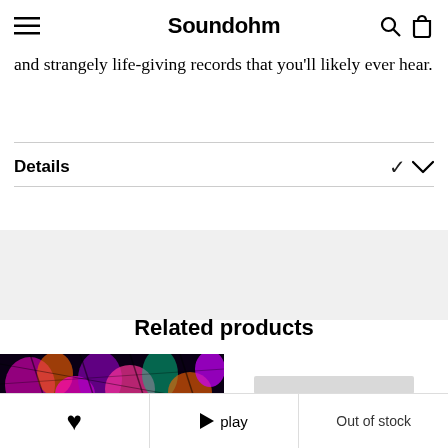Soundohm
and strangely life-giving records that you'll likely ever hear.
Details
Related products
[Figure (photo): Colorful psychedelic album art with fractal patterns in pink, purple, orange and green on black background]
[Figure (photo): Partially visible product image on right side, appears light/faded]